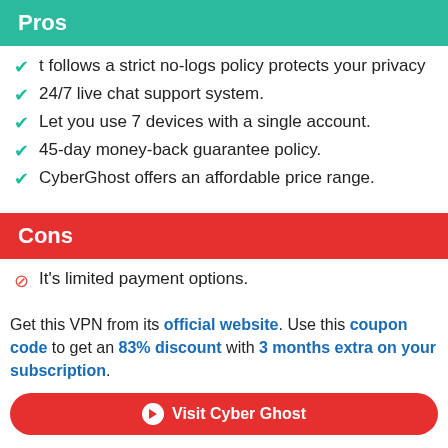Pros
t follows a strict no-logs policy protects your privacy
24/7 live chat support system.
Let you use 7 devices with a single account.
45-day money-back guarantee policy.
CyberGhost offers an affordable price range.
Cons
It's limited payment options.
Get this VPN from its official website. Use this coupon code to get an 83% discount with 3 months extra on your subscription.